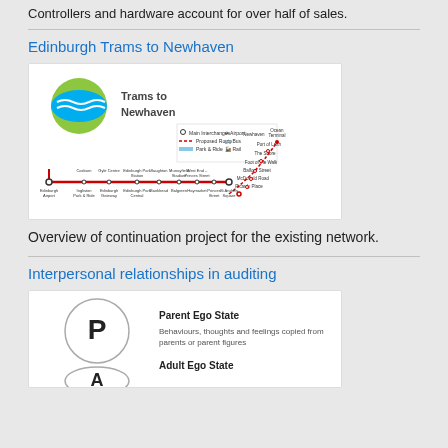Controllers and hardware account for over half of sales.
Edinburgh Trams to Newhaven
[Figure (map): Map of Edinburgh Trams to Newhaven route showing stations including Edinburgh Airport, Haymarket, Princes Street, St Andrew Square, and the Newhaven extension to Ocean Terminal, Port of Leith, The Shore, Foot of the Walk, Balfour Street, McDonald Road, and Picardy Place. Includes legend for Main Interchanges, Airport, Proposed Route, Bus, Park & Ride, and Rail.]
Overview of continuation project for the existing network.
Interpersonal relationships in auditing
[Figure (illustration): Diagram showing Parent Ego State (P) - Behaviours, thoughts and feelings copied from parents or parent figures - represented by a circle with letter P, and Adult Ego State (A) circle beginning to appear.]